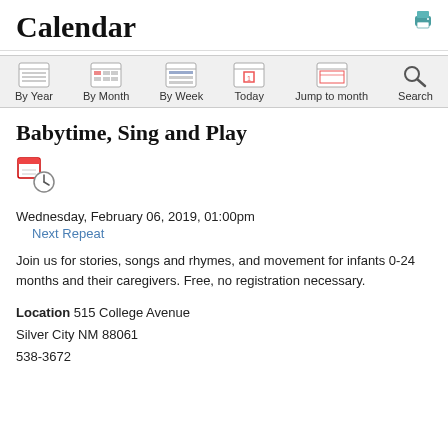Calendar
[Figure (screenshot): Navigation bar with icons: By Year, By Month, By Week, Today, Jump to month, Search]
Babytime, Sing and Play
[Figure (illustration): Calendar/clock icon representing an event]
Wednesday, February 06, 2019, 01:00pm
Next Repeat
Join us for stories, songs and rhymes, and movement for infants 0-24 months and their caregivers. Free, no registration necessary.
Location 515 College Avenue
Silver City NM 88061
538-3672